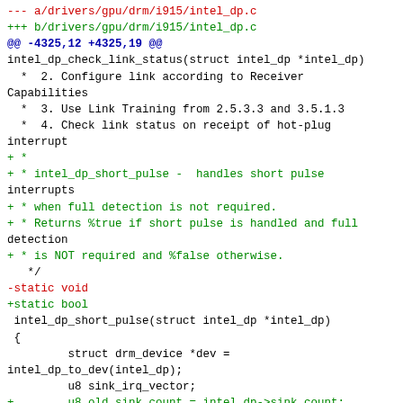--- a/drivers/gpu/drm/i915/intel_dp.c
+++ b/drivers/gpu/drm/i915/intel_dp.c
@@ -4325,12 +4325,19 @@
intel_dp_check_link_status(struct intel_dp *intel_dp)
  *  2. Configure link according to Receiver
Capabilities
  *  3. Use Link Training from 2.5.3.3 and 3.5.1.3
  *  4. Check link status on receipt of hot-plug
interrupt
+ *
+ * intel_dp_short_pulse -  handles short pulse
interrupts
+ * when full detection is not required.
+ * Returns %true if short pulse is handled and full
detection
+ * is NOT required and %false otherwise.
   */
-static void
+static bool
 intel_dp_short_pulse(struct intel_dp *intel_dp)
 {
         struct drm_device *dev =
intel_dp_to_dev(intel_dp);
         u8 sink_irq_vector;
+        u8 old_sink_count = intel_dp->sink_count;
+        bool ret;

         /*
          * Clearing compliance test variables to allow
capturing